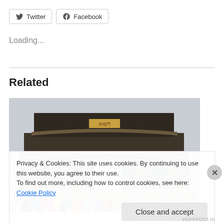[Figure (other): Twitter social share button]
[Figure (other): Facebook social share button]
Loading...
Related
[Figure (photo): Photo of a traditional Korean palace building (Gyeongbokgung) with crowds of tourists in winter clothing along the front terrace]
Privacy & Cookies: This site uses cookies. By continuing to use this website, you agree to their use.
To find out more, including how to control cookies, see here: Cookie Policy
Close and accept
HUFFPOST.ID